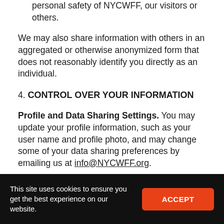personal safety of NYCWFF, our visitors or others.
We may also share information with others in an aggregated or otherwise anonymized form that does not reasonably identify you directly as an individual.
4. CONTROL OVER YOUR INFORMATION
Profile and Data Sharing Settings. You may update your profile information, such as your user name and profile photo, and may change some of your data sharing preferences by emailing us at info@NYCWFF.org.
This site uses cookies to ensure you get the best experience on our website. ACCEPT